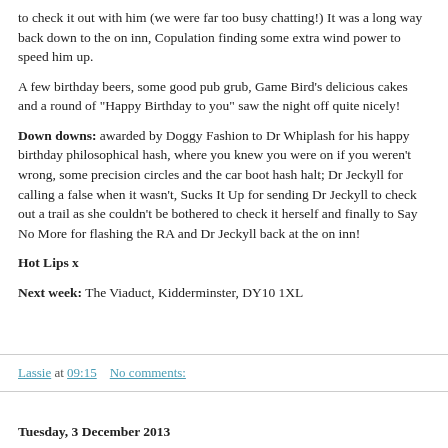to check it out with him (we were far too busy chatting!) It was a long way back down to the on inn, Copulation finding some extra wind power to speed him up.
A few birthday beers, some good pub grub, Game Bird’s delicious cakes and a round of “Happy Birthday to you” saw the night off quite nicely!
Down downs: awarded by Doggy Fashion to Dr Whiplash for his happy birthday philosophical hash, where you knew you were on if you weren’t wrong, some precision circles and the car boot hash halt; Dr Jeckyll for calling a false when it wasn’t, Sucks It Up for sending Dr Jeckyll to check out a trail as she couldn’t be bothered to check it herself and finally to Say No More for flashing the RA and Dr Jeckyll back at the on inn!
Hot Lips x
Next week: The Viaduct, Kidderminster, DY10 1XL
Lassie at 09:15   No comments:
Tuesday, 3 December 2013